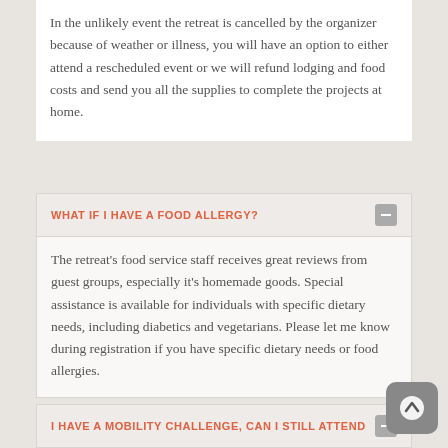In the unlikely event the retreat is cancelled by the organizer because of weather or illness, you will have an option to either attend a rescheduled event or we will refund lodging and food costs and send you all the supplies to complete the projects at home.
WHAT IF I HAVE A FOOD ALLERGY?
The retreat's food service staff receives great reviews from guest groups, especially it's homemade goods. Special assistance is available for individuals with specific dietary needs, including diabetics and vegetarians. Please let me know during registration if you have specific dietary needs or food allergies.
I HAVE A MOBILITY CHALLENGE, CAN I STILL ATTEND